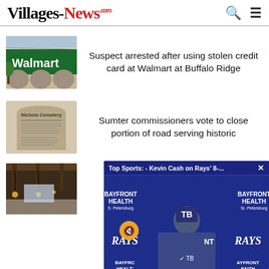Villages-News.com
[Figure (photo): Walmart store exterior with green sign]
Suspect arrested after using stolen credit card at Walmart at Buffalo Ridge
[Figure (photo): Nichols Cemetery stone marker sign]
Sumter commissioners vote to close portion of road serving historic
[Figure (screenshot): Video overlay: Top Sports - Kevin Cash on Rays' 8-... showing Kevin Cash at press conference with Bayfront Health and Rays logos]
[Figure (photo): Interior room with hanging pendant lights and ceiling beams]